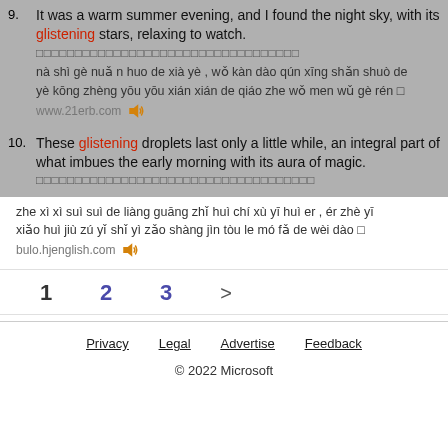9. It was a warm summer evening, and I found the night sky, with its glistening stars, relaxing to watch.
nà shì gè nuǎn huo de xià yè , wǒ kàn dào qún xīng shǎn shuò de yè kōng zhèng yōu yōu xián xián de qiáo zhe wǒ men wǔ gè rén □
www.21erb.com
10. These glistening droplets last only a little while, an integral part of what imbues the early morning with its aura of magic.
zhe xì xì suì suì de liàng guāng zhǐ huì chí xù yī huì er , ér zhè yī xiǎo huì jiù zú yǐ shǐ yì zǎo shàng jìn tòu le mó fǎ de wèi dào □
bulo.hjenglish.com
1  2  3  >
Privacy  Legal  Advertise  Feedback  © 2022 Microsoft